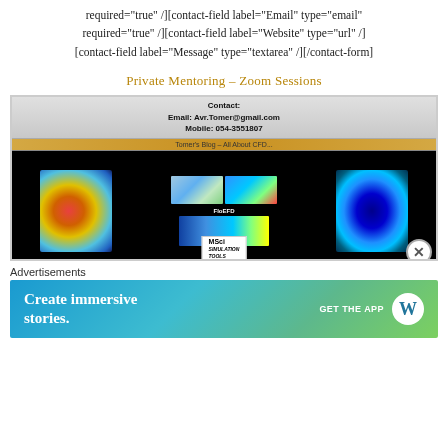required="true" /][contact-field label="Email" type="email" required="true" /][contact-field label="Website" type="url" /][contact-field label="Message" type="textarea" /][/contact-form]
Private Mentoring – Zoom Sessions
[Figure (screenshot): Screenshot of a CFD blog/website showing Contact info (Email: Avr.Tomer@gmail.com, Mobile: 054-3551807), Tomer's Blog - All About CFD... banner, and three CFD software images: STAR CCM+, FloEFD, and MSC Nastran, with MSci logo and a close button]
Advertisements
[Figure (screenshot): WordPress advertisement banner: 'Create immersive stories.' with GET THE APP button and WordPress logo]